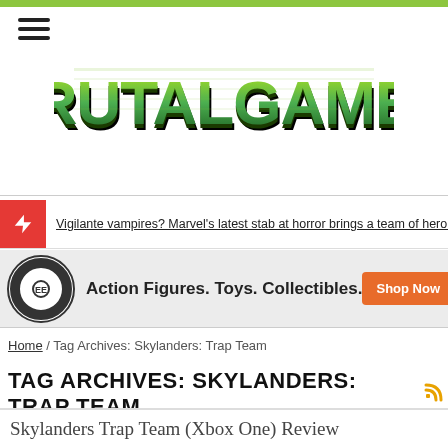[Figure (logo): BrutalGamer website logo in green pixel/mosaic style lettering]
Vigilante vampires? Marvel's latest stab at horror brings a team of heroic bloo
[Figure (infographic): Entertainment Earth ad banner: Action Figures. Toys. Collectibles. Shop Now button]
Home / Tag Archives: Skylanders: Trap Team
TAG ARCHIVES: SKYLANDERS: TRAP TEAM
Skylanders Trap Team (Xbox One) Review